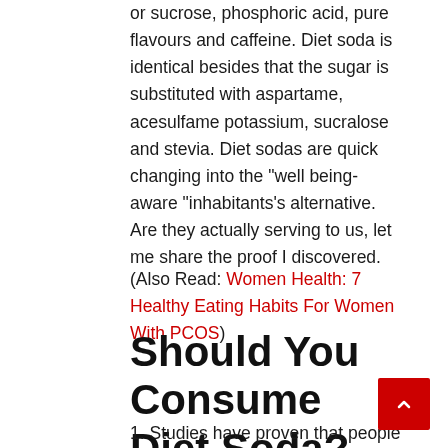sweeteners, like glucose-fructose corn syrup or sucrose, phosphoric acid, pure flavours and caffeine. Diet soda is identical besides that the sugar is substituted with aspartame, acesulfame potassium, sucralose and stevia. Diet sodas are quick changing into the “well being-aware “inhabitants’s alternative. Are they actually serving to us, let me share the proof I discovered.
(Also Read: Women Health: 7 Healthy Eating Habits For Women With PCOS)
Should You Consume Diet Soda?
1. Studies have proven that people who devour